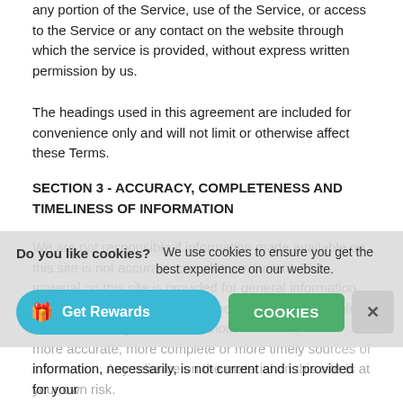any portion of the Service, use of the Service, or access to the Service or any contact on the website through which the service is provided, without express written permission by us.
The headings used in this agreement are included for convenience only and will not limit or otherwise affect these Terms.
SECTION 3 - ACCURACY, COMPLETENESS AND TIMELINESS OF INFORMATION
We are not responsible if information made available on this site is not accurate, complete or current. The material on this site is provided for general information only and should not be relied upon or used as the sole basis for making decisions without consulting primary, more accurate, more complete or more timely sources of information. Any reliance on the material on this site is at your own risk.
[Figure (screenshot): Cookie consent banner overlay with 'Do you like cookies? We use cookies to ensure you get the best experience on our website.' text, a 'Get Rewards' button in blue, an 'COOKIES' accept button in green, and an X close button.]
information, necessarily, is not current and is provided for your